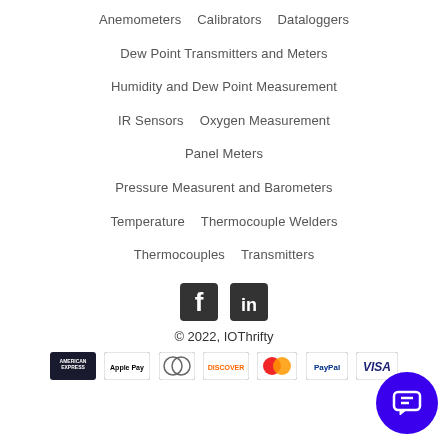Anemometers   Calibrators   Dataloggers
Dew Point Transmitters and Meters
Humidity and Dew Point Measurement
IR Sensors   Oxygen Measurement
Panel Meters
Pressure Measurent and Barometers
Temperature   Thermocouple Welders
Thermocouples   Transmitters
[Figure (logo): Facebook and LinkedIn social media icons]
© 2022, IOThrifty
[Figure (infographic): Payment method logos: American Express, Apple Pay, Diners Club, Discover, Mastercard, PayPal, Visa]